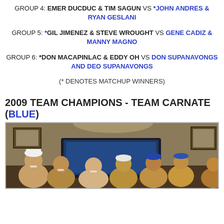GROUP 4: EMER DUCDUC & TIM SAGUN VS *JOHN ANDRES & RYAN GESLANI
GROUP 5: *GIL JIMENEZ & STEVE WROUGHT VS GENE CADIZ & MANNY MAGNO
GROUP 6: *DON MACAPINLAC & EDDY OH VS DON SUPANAVONGS AND DEO SUPANAVONGS
(* DENOTES MATCHUP WINNERS)
2009 TEAM CHAMPIONS - TEAM CARNATE (BLUE)
[Figure (photo): Group photo of golf team members celebrating indoors]